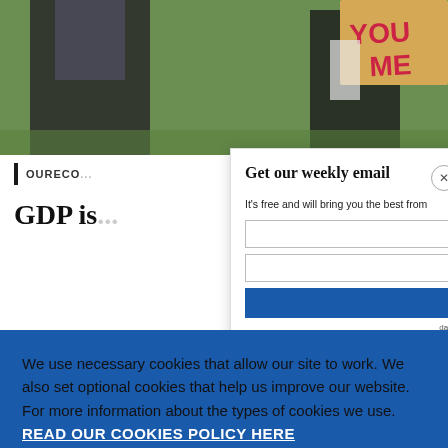[Figure (photo): Background photo of people, one holding a cardboard sign reading YOU ME]
OURECO...
GDP is...
Get our weekly email
It's free and will bring you the best from
We use necessary cookies that allow our site to work. We also set optional cookies that help us improve our website. For more information about the types of cookies we use. READ OUR COOKIES POLICY HERE
COOKIE SETTINGS
ALLOW ALL COOKIES
data.